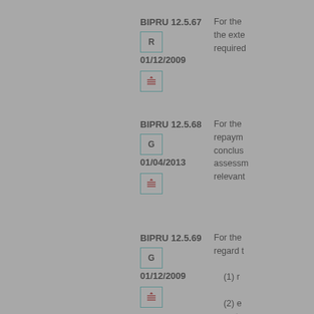BIPRU 12.5.67
R
01/12/2009
For the the exte required
BIPRU 12.5.68
G
01/04/2013
For the repayment conclus assessment relevant
BIPRU 12.5.69
G
01/12/2009
For the regard t (1) r (2) e matu